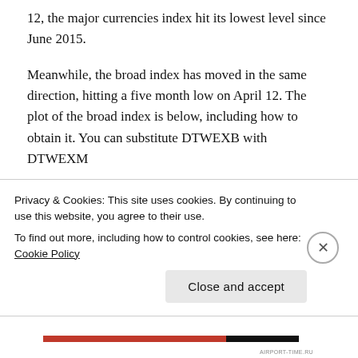12, the major currencies index hit its lowest level since June 2015.
Meanwhile, the broad index has moved in the same direction, hitting a five month low on April 12. The plot of the broad index is below, including how to obtain it. You can substitute DTWEXB with DTWEXM if…
Privacy & Cookies: This site uses cookies. By continuing to use this website, you agree to their use.
To find out more, including how to control cookies, see here: Cookie Policy